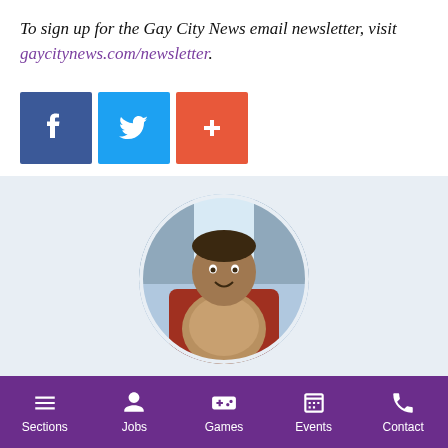To sign up for the Gay City News email newsletter, visit gaycitynews.com/newsletter.
[Figure (other): Social sharing buttons: Facebook (blue), Twitter (light blue), Google+ / Add (red-orange)]
[Figure (photo): Circular portrait photo of Matt Tracy, editor-in-chief of Gay City News, seated at a desk in an office setting.]
Matt Tracy
Matt Tracy is Gay City News' editor-in-chief.
Sections  Jobs  Games  Events  Contact